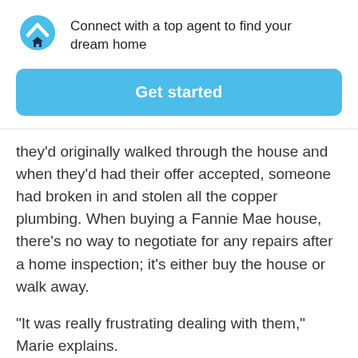[Figure (logo): HomeLight logo: blue circle with white chevron/caret and dark house icon below]
Connect with a top agent to find your dream home
Get started
they'd originally walked through the house and when they'd had their offer accepted, someone had broken in and stolen all the copper plumbing. When buying a Fannie Mae house, there's no way to negotiate for any repairs after a home inspection; it's either buy the house or walk away.
“It was really frustrating dealing with them,” Marie explains.